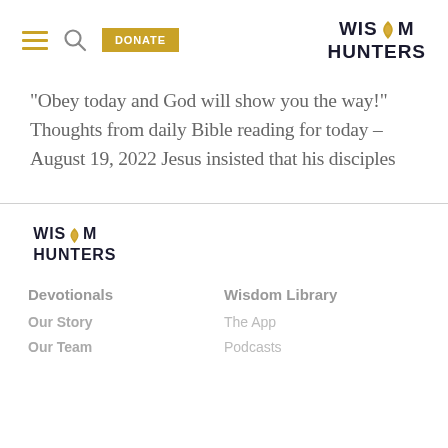WISDOM HUNTERS — Navigation header with hamburger menu, search, and DONATE button
“Obey today and God will show you the way!” Thoughts from daily Bible reading for today – August 19, 2022 Jesus insisted that his disciples
[Figure (logo): Wisdom Hunters logo with flame icon in footer area]
Devotionals
Our Story
Our Team
Wisdom Library
The App
Podcasts